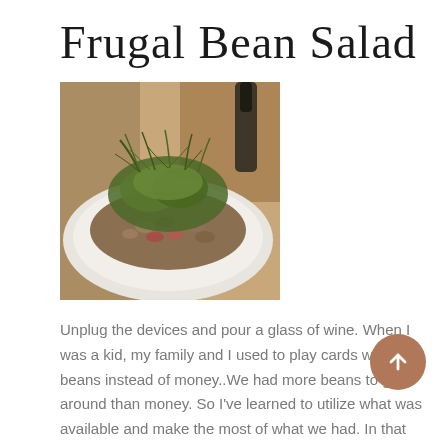Frugal Bean Salad
[Figure (photo): A close-up photo of a bean salad served on a white plate, with leafy greens on top, set on a wooden surface with blurred background]
Unplug the devices and pour a glass of wine. When I was a kid, my family and I used to play cards with beans instead of money..We had more beans to go around than money. So I've learned to utilize what was available and make the most of what we had. In that case beans. Frugal